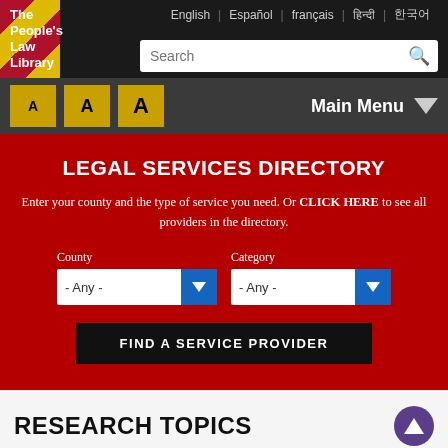[Figure (screenshot): The People's Law Library website header with logo, language selector (English, Español, français, and two other languages), search bar, font size buttons (A A A), and Main Menu navigation]
LEGAL SERVICES DIRECTORY
Enter your county and the type of service you need. Or CLICK HERE to see all providers in the directory.
County - Any - | Category - Any -
FIND A SERVICE PROVIDER
RESEARCH TOPICS